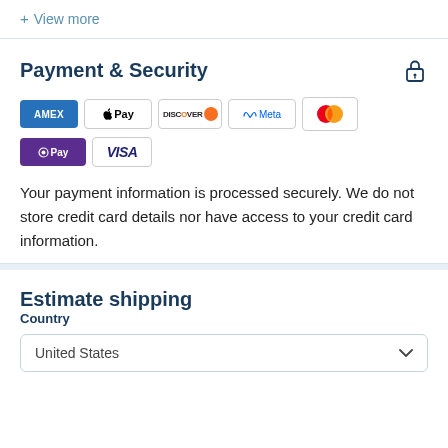+ View more
Payment & Security
[Figure (logo): Payment method logos: American Express (AMEX), Apple Pay, Discover, Meta Pay, Mastercard, Shop Pay, Visa]
Your payment information is processed securely. We do not store credit card details nor have access to your credit card information.
Estimate shipping
Country
United States